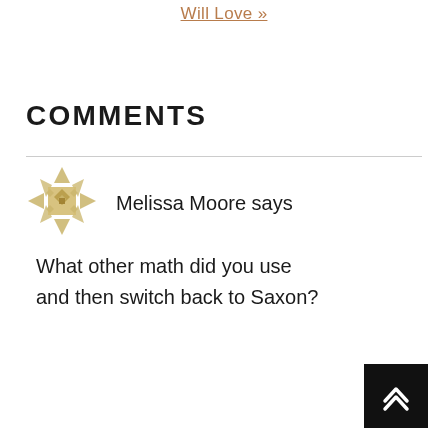Will Love »
COMMENTS
Melissa Moore says
What other math did you use and then switch back to Saxon?
[Figure (illustration): Decorative golden geometric avatar icon with triangular and diamond pattern shapes arranged in a circular form]